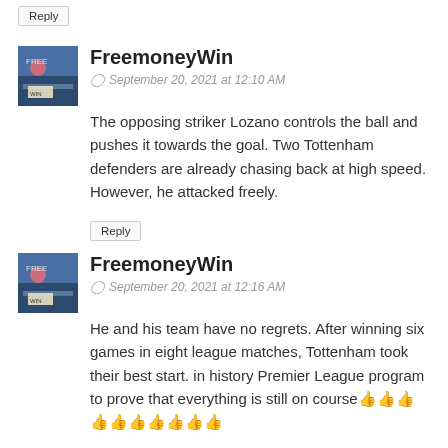Reply
FreemoneyWin
September 20, 2021 at 12:10 AM
The opposing striker Lozano controls the ball and pushes it towards the goal. Two Tottenham defenders are already chasing back at high speed. However, he attacked freely.
Reply
FreemoneyWin
September 20, 2021 at 12:16 AM
He and his team have no regrets. After winning six games in eight league matches, Tottenham took their best start. in history Premier League program to prove that everything is still on course👍👍👍👍👍
Reply
Mindest
September 20, 2021 at 8:06 AM
This is such a great resource that you are providing and